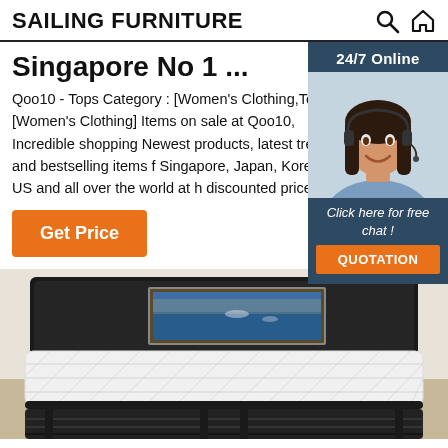SAILING FURNITURE
Singapore No 1 ...
Qoo10 - Tops Category : [Women's Clothing,Tops] [Women's Clothing] Items on sale at Qoo10, Incredible shopping Newest products, latest trends and bestselling items f Singapore, Japan, Korea, US and all over the world at h discounted price!
[Figure (infographic): 24/7 Online chat widget with female customer service agent wearing headset, dark blue background, 'Click here for free chat!' text and orange QUOTATION button]
Get Price
[Figure (photo): Photograph of a bed with white quilted mattress, dark wooden slatted bed base, and a framed panoramic picture on the headboard showing a scenic coastal view]